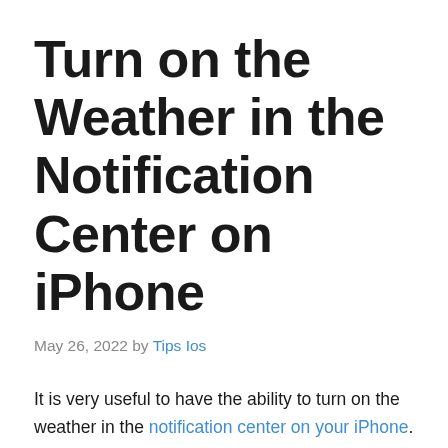Turn on the Weather in the Notification Center on iPhone
May 26, 2022 by Tips Ios
It is very useful to have the ability to turn on the weather in the notification center on your iPhone. It makes for a quick and easy way to check the weather for any place you are, no matter where you are. The iPhone